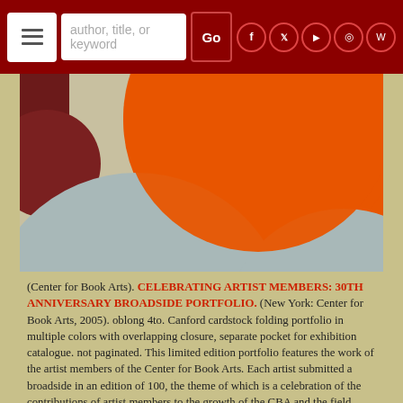author, title, or keyword | Go
[Figure (illustration): Abstract artwork with orange circle/arc and grey arcs on a beige/tan background]
(Center for Book Arts). CELEBRATING ARTIST MEMBERS: 30TH ANNIVERSARY BROADSIDE PORTFOLIO. (New York: Center for Book Arts, 2005). oblong 4to. Canford cardstock folding portfolio in multiple colors with overlapping closure, separate pocket for exhibition catalogue. not paginated. This limited edition portfolio features the work of the artist members of the Center for Book Arts. Each artist submitted a broadside in an edition of 100, the theme of which is a celebration of the contributions of artist members to the growth of the CBA and the field..... READ MORE
Price: $1,500.00  other currencies  Order nr. 103044
Add to Cart